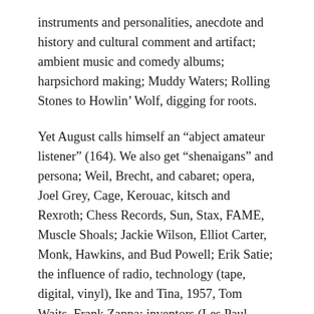instruments and personalities, anecdote and history and cultural comment and artifact; ambient music and comedy albums; harpsichord making; Muddy Waters; Rolling Stones to Howlin' Wolf, digging for roots.
Yet August calls himself an “abject amateur listener” (164). We also get “shenaigans” and persona; Weil, Brecht, and cabaret; opera, Joel Grey, Cage, Kerouac, kitsch and Rexroth; Chess Records, Sun, Stax, FAME, Muscle Shoals; Jackie Wilson, Elliot Carter, Monk, Hawkins, and Bud Powell; Erik Satie; the influence of radio, technology (tape, digital, vinyl), Ike and Tina, 1957, Tom Waits, Frank Zappa; inventors (Les Paul, Raymond Scott); Roy Fisher (who gets three chapters titled “Roy Fisher,” thus throwing off the Roman numeral strategy); Dylan, Dinah Washington; mouth organ – aka harmonica or mouth harp; John Lee Hooker; bottle neck guitar, prepared piano, organ, sax, and the reputed sex of lyrics.